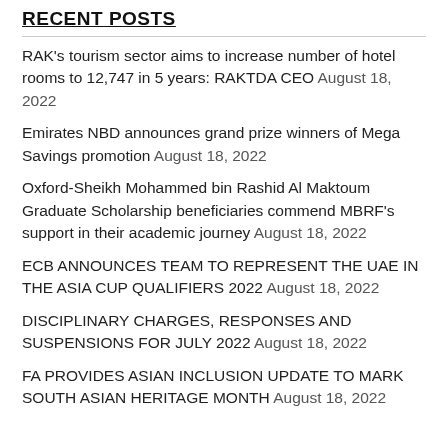RECENT POSTS
RAK's tourism sector aims to increase number of hotel rooms to 12,747 in 5 years: RAKTDA CEO August 18, 2022
Emirates NBD announces grand prize winners of Mega Savings promotion August 18, 2022
Oxford-Sheikh Mohammed bin Rashid Al Maktoum Graduate Scholarship beneficiaries commend MBRF's support in their academic journey August 18, 2022
ECB ANNOUNCES TEAM TO REPRESENT THE UAE IN THE ASIA CUP QUALIFIERS 2022 August 18, 2022
DISCIPLINARY CHARGES, RESPONSES AND SUSPENSIONS FOR JULY 2022 August 18, 2022
FA PROVIDES ASIAN INCLUSION UPDATE TO MARK SOUTH ASIAN HERITAGE MONTH August 18, 2022